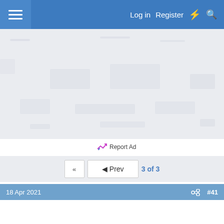Log in  Register
[Figure (screenshot): Blurred/redacted advertisement area with light blue-grey background]
Report Ad
◄◄  ◄ Prev  3 of 3
18 Apr 2021  #41
Report Ad
[Figure (screenshot): Bottom advertisement banner showing auto-related logos]